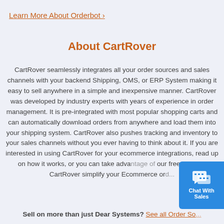Learn More About Orderbot ›
About CartRover
CartRover seamlessly integrates all your order sources and sales channels with your backend Shipping, OMS, or ERP System making it easy to sell anywhere in a simple and inexpensive manner. CartRover was developed by industry experts with years of experience in order management. It is pre-integrated with most popular shopping carts and can automatically download orders from anywhere and load them into your shipping system. CartRover also pushes tracking and inventory to your sales channels without you ever having to think about it. If you are interested in using CartRover for your ecommerce integrations, read up on how it works, or you can take advantage of our free trial. Let CartRover simplify your Ecommerce ord...
Sell on more than just Dear Systems? See all Order So...